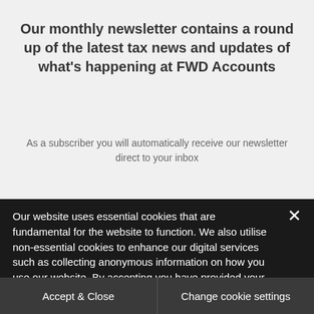Our monthly newsletter contains a round up of the latest tax news and updates of what's happening at FWD Accounts
As a subscriber you will automatically receive our newsletter direct to your inbox
[Figure (illustration): Yellow circle with a white envelope/inbox icon]
Our website uses essential cookies that are fundamental for the website to function. We also utilise non-essential cookies to enhance our digital services such as collecting anonymous information on how you use our website. By accepting you have provided your consent to the use of non-essential cookies. If you would like to change this, please click on 'Change cookie settings'.
Accept & Close
Change cookie settings